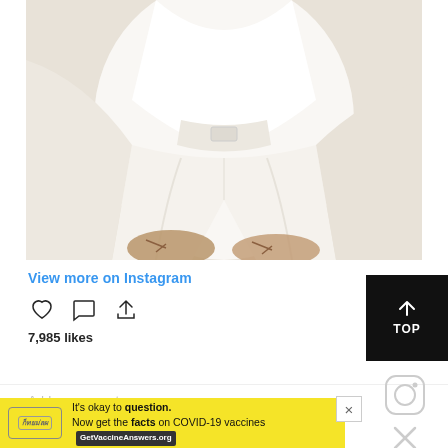[Figure (photo): Instagram post showing a person wearing an all-white outfit (white shirt and white pants/trousers) sitting cross-legged on what appears to be a white surface or bed, with tan/brown lace-up shoes visible at the bottom.]
View more on Instagram
[Figure (other): Instagram action icons: heart (like), speech bubble (comment), and share/upload icon]
7,985 likes
[Figure (other): TOP button - black square with upward arrow and text TOP]
Add a comment
[Figure (other): Ad banner: yellow background. Badge on left. Text: It's okay to question. Now get the facts on COVID-19 vaccines. GetVaccineAnswers.org button. Close X button.]